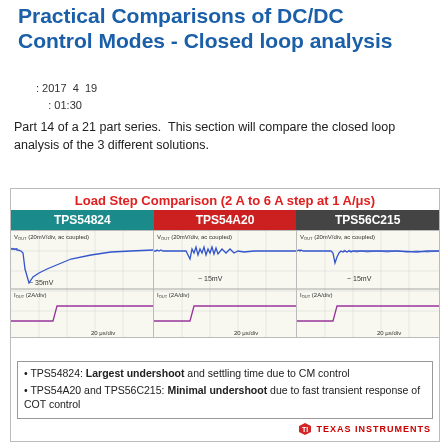Practical Comparisons of DC/DC Control Modes - Closed loop analysis
: 2017  4  19
: 01:30
Part 14 of a 21 part series.  This section will compare the closed loop analysis of the 3 different solutions.
[Figure (engineering-diagram): Load Step Comparison (2 A to 6 A step at 1 A/μs) oscilloscope screenshots for TPS54824, TPS54A20, and TPS56C215. Each panel shows VOUT (20mV/div, ac coupled) waveform and IOUT (2A/div) waveform at 20 μs/div. TPS54824 shows ~35mV undershoot, TPS54A20 and TPS56C215 show ~15mV undershoot.]
TPS54824: Largest undershoot and settling time due to CM control
TPS54A20 and TPS56C215: Minimal undershoot due to fast transient response of COT control